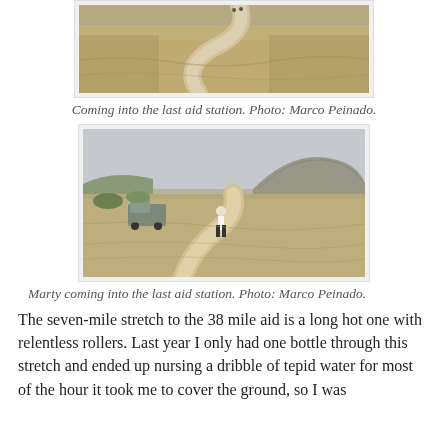[Figure (photo): Aerial view of a winding dirt trail through dry grassland, partially cropped at top]
Coming into the last aid station. Photo: Marco Peinado.
[Figure (photo): Runner on a winding dirt trail through arid hills, with a truck visible on the left and rocky hills in the background]
Marty coming into the last aid station. Photo: Marco Peinado.
The seven-mile stretch to the 38 mile aid is a long hot one with relentless rollers. Last year I only had one bottle through this stretch and ended up nursing a dribble of tepid water for most of the hour it took me to cover the ground, so I was